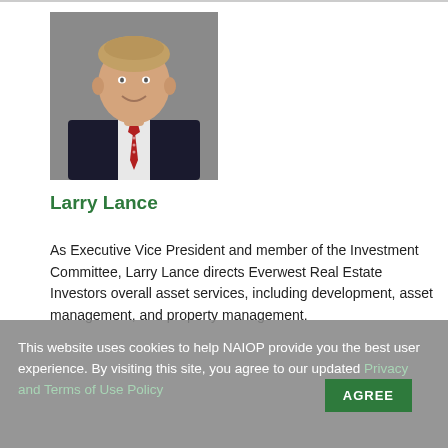[Figure (photo): Professional headshot of Larry Lance, a man in a dark suit with a red tie, smiling, against a gray background.]
Larry Lance
As Executive Vice President and member of the Investment Committee, Larry Lance directs Everwest Real Estate Investors overall asset services, including development, asset management, and property management.
This website uses cookies to help NAIOP provide you the best user experience. By visiting this site, you agree to our updated Privacy and Terms of Use Policy